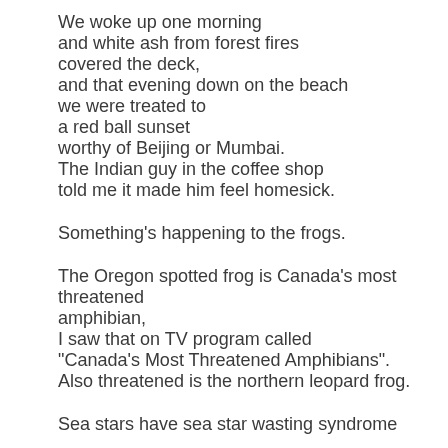We woke up one morning
and white ash from forest fires
covered the deck,
and that evening down on the beach
we were treated to
a red ball sunset
worthy of Beijing or Mumbai.
The Indian guy in the coffee shop
told me it made him feel homesick.
Something's happening to the frogs.
The Oregon spotted frog is Canada's most threatened amphibian,
I saw that on TV program called
“Canada's Most Threatened Amphibians”.
Also threatened is the northern leopard frog.
Sea stars have sea star wasting syndrome